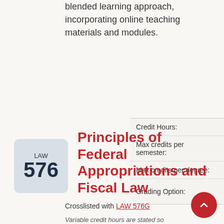blended learning approach, incorporating online teaching materials and modules.
|  |  |
| --- | --- |
| Credit Hours: | 1 |
| Max credits per semester: | 1 |
| Max credits per degree: | 1 |
| Grading Option: | Law (G) Classes |
[Figure (other): Course badge showing LAW 576 department and number]
Principles of Federal Appropriations and Fiscal Law
Crosslisted with LAW 576G
Variable credit hours are stated so...